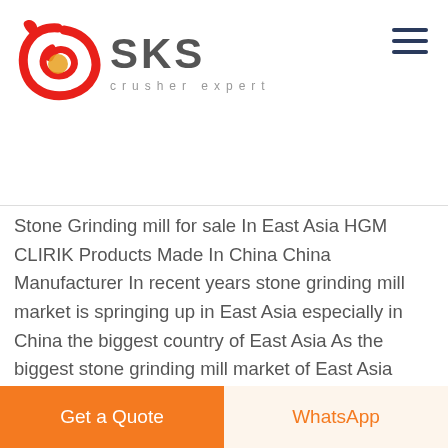[Figure (logo): SKS crusher expert logo — red swoosh/ribbon icon on left, bold gray SKS text with 'crusher expert' tagline below]
Stone Grinding mill for sale In East Asia HGM CLIRIK Products Made In China China Manufacturer In recent years stone grinding mill market is springing up in East Asia especially in China the biggest country of East Asia As the biggest stone grinding mill market of East Asia there a large number of stone grinding mills for sale at the same time lots of grinding mill manufacturers
[Figure (photo): Close-up photo of gray stone or granite grinding surface texture]
LIVE CHAT
Get a Quote
WhatsApp